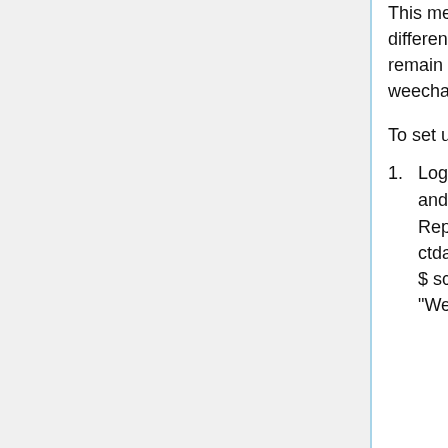This method will establish a persistent IRC sessions that you can connect to with different clients. A weechat server program running on a CSClub server will remain connected to IRC networks at all times, and simply connecting to your weechat server program will give you all the chat history upon connection.
To set up your weechat server program:
Log in to a CS Club general-use server, such as taurine.csclub.uwaterloo.ca, and run `weechat` in such a way that it will keep running after you log out
Replace ctdalek with your username $ ssh ctdalek@taurine.csclub.uwaterloo.ca $ screen -U weechat A "WeeChat" window should have